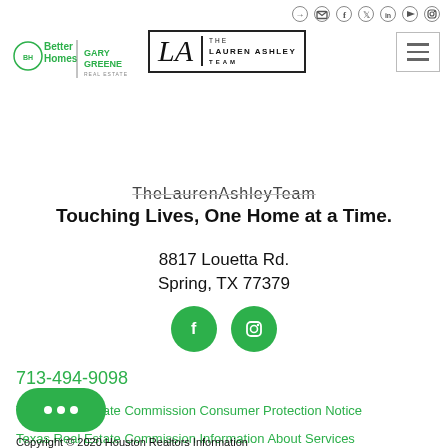Better Homes Gary Greene | The Lauren Ashley Team — navigation/logo bar
[Figure (logo): Better Homes Gary Greene real estate logo on the left, The Lauren Ashley Team logo (LA monogram in italic serif, THE LAUREN ASHLEY TEAM wordmark) in a bordered box in the center, hamburger menu icon on the right]
TheLaurenAshleyTeam
Touching Lives, One Home at a Time.
8817 Louetta Rd.
Spring, TX 77379
[Figure (illustration): Two green circular social media icons: Facebook (f) and Instagram (camera) icons]
713-494-9098
Texas Real Estate Commission Consumer Protection Notice
Texas Real Estate Commission Information About Services
Copyright © 2020 Houston Realtors Information